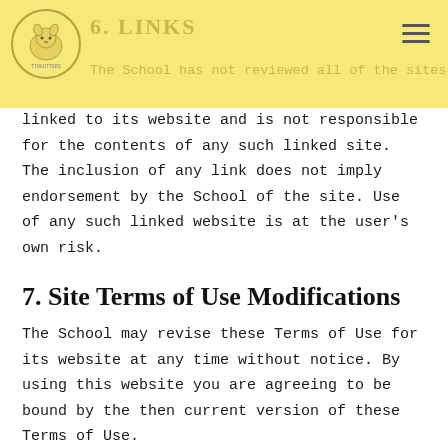6. Links – The School has not reviewed all of the sites
linked to its website and is not responsible for the contents of any such linked site. The inclusion of any link does not imply endorsement by the School of the site. Use of any such linked website is at the user's own risk.
7. Site Terms of Use Modifications
The School may revise these Terms of Use for its website at any time without notice. By using this website you are agreeing to be bound by the then current version of these Terms of Use.
8. Governing Law